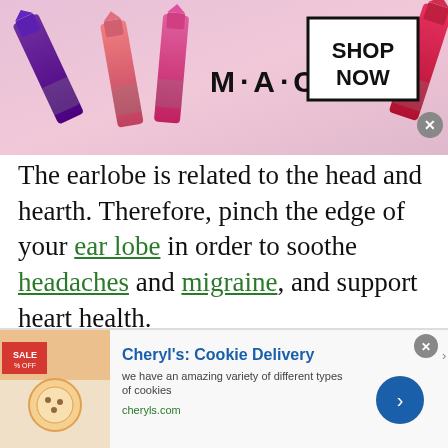[Figure (illustration): MAC cosmetics advertisement banner with lipsticks in purple, pink, and red colors. MAC logo in center, 'SHOP NOW' in a bordered box on the right. Close button (x) in top right corner.]
The earlobe is related to the head and hearth. Therefore, pinch the edge of your ear lobe in order to soothe headaches and migraine, and support heart health.
Act of love   Clothespin   Congestions
Curve   Ear Lobe   Rights   Lazy   infolinks
[Figure (illustration): Cheryl's Cookie Delivery advertisement. Shows cookies image on left, bold blue title 'Cheryl's: Cookie Delivery', description 'we have an amazing variety of different types of cookies', URL 'cheryls.com', blue arrow circle button on right. Close button in top right corner.]